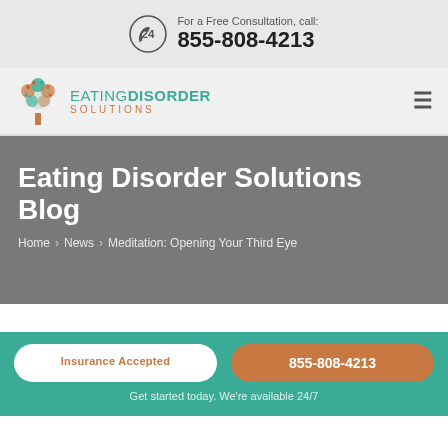For a Free Consultation, call: 855-808-4213
[Figure (logo): Eating Disorder Solutions logo with tree icon and text]
Eating Disorder Solutions Blog
Home › News › Meditation: Opening Your Third Eye
Insurance Accepted
855-808-4213
Get started today. We're available 24/7